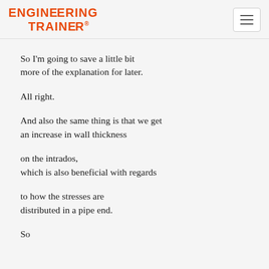ENGINEERING TRAINER.
So I'm going to save a little bit more of the explanation for later.
All right.
And also the same thing is that we get an increase in wall thickness
on the intrados, which is also beneficial with regards
to how the stresses are distributed in a pipe end.
So